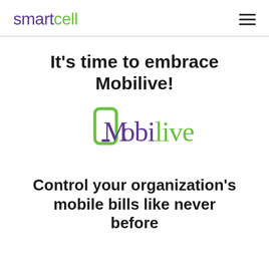smartcell
It’s time to embrace Mobilive!
[Figure (logo): Mobilive logo with green phone outline icon and purple/green wordmark text]
Control your organization’s mobile bills like never before